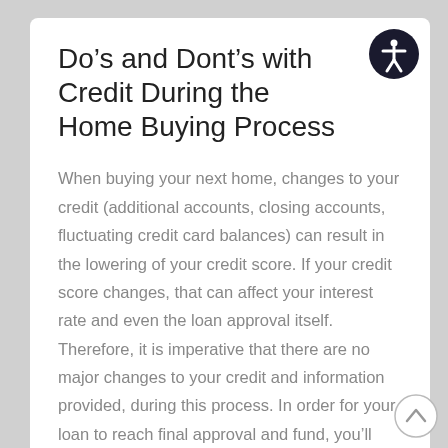Do’s and Dont’s with Credit During the Home Buying Process
When buying your next home, changes to your credit (additional accounts, closing accounts, fluctuating credit card balances) can result in the lowering of your credit score. If your credit score changes, that can affect your interest rate and even the loan approval itself. Therefore, it is imperative that there are no major changes to your credit and information provided, during this process. In order for your loan to reach final approval and fund, you’ll want to adhere to the following: DO NOT charge any new items on your charge cards (higher balances will lower credit scores). DO NOT apply for